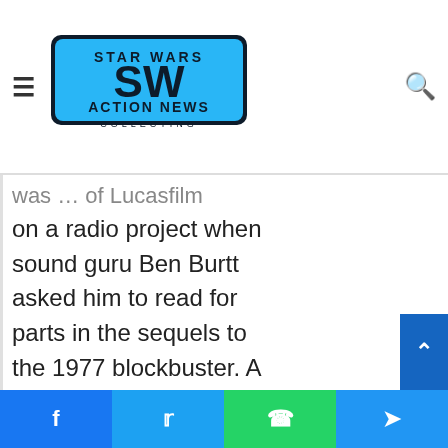SW Action News - Star Wars Collecting
was ... of Lucasfilm on a radio project when sound guru Ben Burtt asked him to read for parts in the sequels to the 1977 blockbuster. A little known fact is that he could have been the
[Figure (other): Scroll to top button]
Facebook | Twitter | WhatsApp | Telegram social share bar